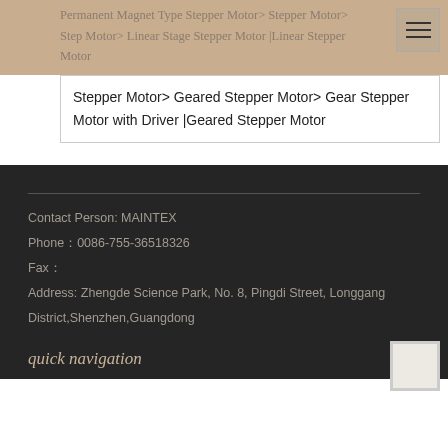Permanent Magnet Type Stepper Motor> Stepper Motor> Step Motor> Linear Stage Stepper Motor |Linear Stepper Motor
Stepper Motor> Geared Stepper Motor> Gear Stepper Motor with Driver |Geared Stepper Motor
Contact Person: MAINTEX
Phone：0086-755-36518326
Fax：
Address: Zhengde Science Park, No. 8, Pingdi Street, Longgang District,Shenzhen,Guangdong
quick navigation